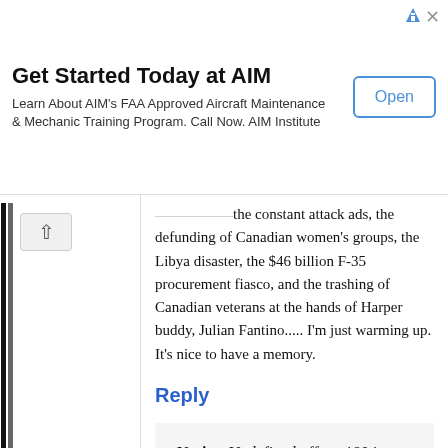[Figure (screenshot): Advertisement banner for AIM Institute with title 'Get Started Today at AIM', description text about FAA Approved Aircraft Maintenance & Mechanic Training Program, and an 'Open' button.]
the constant attack ads, the defunding of Canadian women's groups, the Libya disaster, the $46 billion F-35 procurement fiasco, and the trashing of Canadian veterans at the hands of Harper buddy, Julian Fantino..... I'm just warming up. It's nice to have a memory.
Reply
Notice: Undefined offset: 180 in /nfs/c05/h06/mnt/72829/domains/warrenkinsella.c